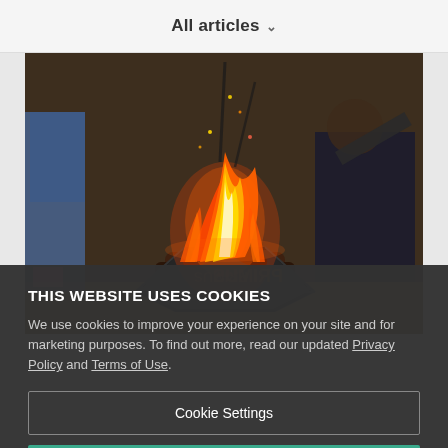All articles
[Figure (photo): Outdoor campfire burning in a metal fire pit with a person crouching nearby and someone with blue jeans in the background]
THIS WEBSITE USES COOKIES
We use cookies to improve your experience on your site and for marketing purposes. To find out more, read our updated Privacy Policy and Terms of Use.
Cookie Settings
Accept All Cookies